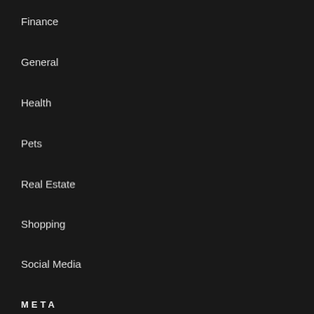Finance
General
Health
Pets
Real Estate
Shopping
Social Media
META
Log in
Entries feed
Comments feed